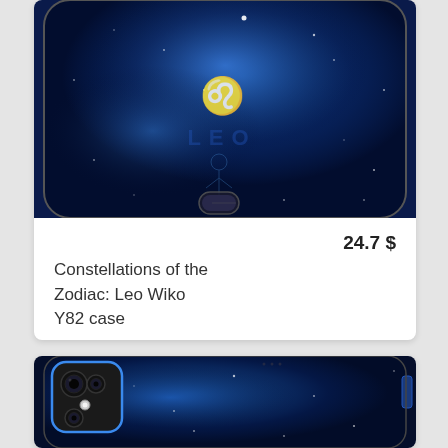[Figure (photo): Back of a smartphone with dark blue galaxy/constellation case showing Leo zodiac symbol]
24.7 $
Constellations of the Zodiac: Leo Wiko Y82 case
[Figure (photo): Back of a dark blue smartphone with galaxy/space background skin, showing dual camera module in top left corner]